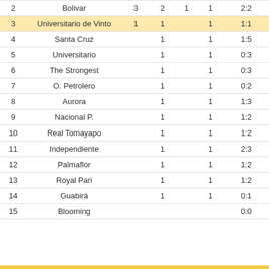| # | Team |  |  |  |  | Score |
| --- | --- | --- | --- | --- | --- | --- |
| 2 | Bolivar | 3 | 2 | 1 | 1 | 2:2 |
| 3 | Universitario de Vinto | 1 | 1 |  | 1 | 1:1 |
| 4 | Santa Cruz |  | 1 |  | 1 | 1:5 |
| 5 | Universitario |  | 1 |  | 1 | 0:3 |
| 6 | The Strongest |  | 1 |  | 1 | 0:3 |
| 7 | O. Petrolero |  | 1 |  | 1 | 0:2 |
| 8 | Aurora |  | 1 |  | 1 | 1:3 |
| 9 | Nacional P. |  | 1 |  | 1 | 1:2 |
| 10 | Real Tomayapo |  | 1 |  | 1 | 1:2 |
| 11 | Independiente |  | 1 |  | 1 | 2:3 |
| 12 | Palmaflor |  | 1 |  | 1 | 1:2 |
| 13 | Royal Pari |  | 1 |  | 1 | 1:2 |
| 14 | Guabirá |  | 1 |  | 1 | 0:1 |
| 15 | Blooming |  |  |  |  | 0:0 |